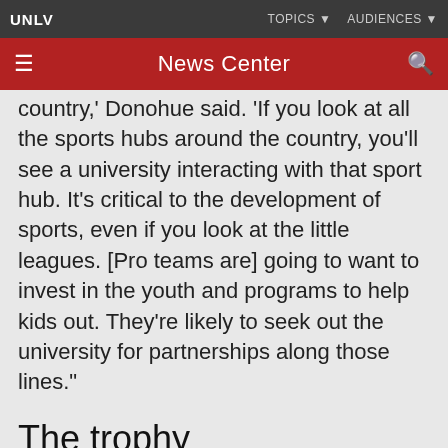UNLV | TOPICS | AUDIENCES
News Center
country,' Donohue said. 'If you look at all the sports hubs around the country, you'll see a university interacting with that sport hub. It's critical to the development of sports, even if you look at the little leagues. [Pro teams are] going to want to invest in the youth and programs to help kids out. They're likely to seek out the university for partnerships along those lines.'
The trophy
The initiative is in the process of applying to become an institute, making it a more permanent and formal part of the campus. To get there, the initiative will have to show three to five years…